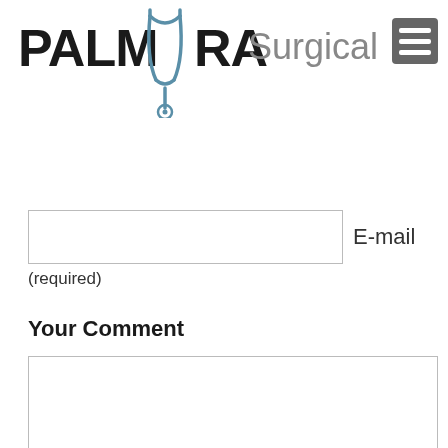[Figure (logo): Palmyra Surgical LLC logo with stethoscope illustration and hamburger menu icon]
E-mail
(required)
Your Comment